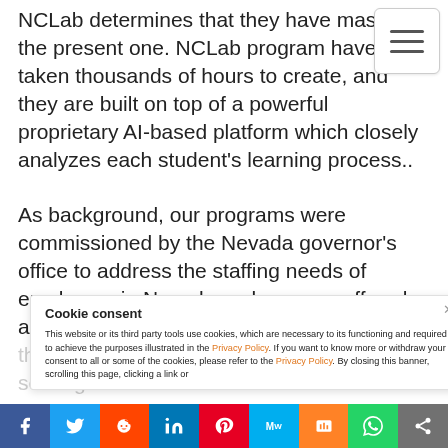NCLab determines that they have mastered the present one. NCLab program have taken thousands of hours to create, and they are built on top of a powerful proprietary AI-based platform which closely analyzes each student's learning process..
As background, our programs were commissioned by the Nevada governor's office to address the staffing needs of employers in Nevada and are now offered at all Nevada community colleges and thousands of...
Cookie consent
This website or its third party tools use cookies, which are necessary to its functioning and required to achieve the purposes illustrated in the Privacy Policy. If you want to know more or withdraw your consent to all or some of the cookies, please refer to the Privacy Policy. By closing this banner, scrolling this page, clicking a link or
[Figure (infographic): Social share bar with icons: Facebook (blue), Twitter (light blue), Reddit (orange-red), LinkedIn (blue), Pinterest (red), MW (light blue), Mix (orange), WhatsApp (green), Share (gray)]